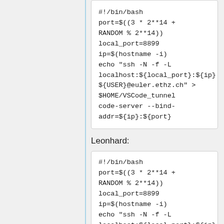[Figure (screenshot): Code block showing bash script for Euler cluster: #!/bin/bash, port=$((3 * 2**14 + RANDOM % 2**14)), local_port=8899, ip=$(hostname -i), echo "ssh -N -f -L localhost:${local_port}:${ip}:$ ${USER}@euler.ethz.ch" > $HOME/VSCode_tunnel, code-server --bind-addr=${ip}:${port}]
Leonhard:
[Figure (screenshot): Code block showing bash script for Leonhard cluster: #!/bin/bash, port=$((3 * 2**14 + RANDOM % 2**14)), local_port=8899, ip=$(hostname -i), echo "ssh -N -f -L localhost:${local_port}:${ip}:$ ${USER}@login.leonhard.ethz.ch" > $HOME/VSCode_tunnel]